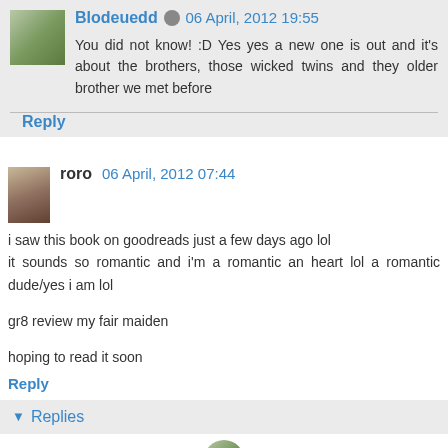Blodeuedd 06 April, 2012 19:55
You did not know! :D Yes yes a new one is out and it's about the brothers, those wicked twins and they older brother we met before
Reply
roro 06 April, 2012 07:44
i saw this book on goodreads just a few days ago lol it sounds so romantic and i'm a romantic an heart lol a romantic dude/yes i am lol

gr8 review my fair maiden

hoping to read it soon
Reply
Replies